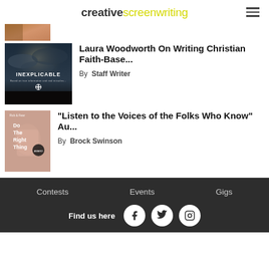creative screenwriting
[Figure (photo): Partial cropped thumbnail image at top of content list]
[Figure (photo): Movie/documentary poster for INEXPLICABLE — dark stormy sky with star/cross symbol]
Laura Woodworth On Writing Christian Faith-Base...
By  Staff Writer
[Figure (photo): Book cover: Do The Right Thing by Rub & Fear, pink/mauve background with illustrated hands]
“Listen to the Voices of the Folks Who Know” Au...
By  Brock Swinson
Contests   Events   Gigs   Find us here
Find us here